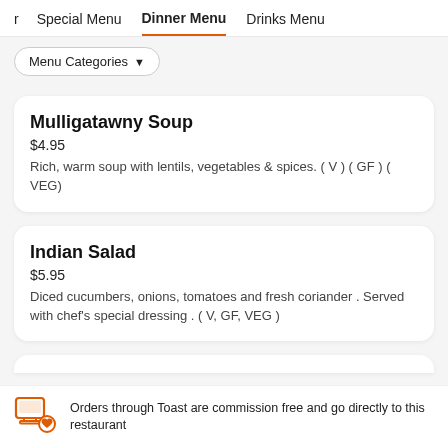r  Special Menu  Dinner Menu  Drinks Menu
Menu Categories ▼
Mulligatawny Soup
$4.95
Rich, warm soup with lentils, vegetables & spices. ( V ) ( GF ) ( VEG)
Indian Salad
$5.95
Diced cucumbers, onions, tomatoes and fresh coriander . Served with chef's special dressing . ( V, GF, VEG )
Orders through Toast are commission free and go directly to this restaurant